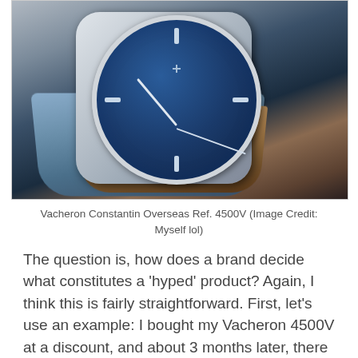[Figure (photo): Photograph of a Vacheron Constantin Overseas Ref. 4500V luxury watch with blue dial and blue leather strap, resting on a grey surface.]
Vacheron Constantin Overseas Ref. 4500V (Image Credit: Myself lol)
The question is, how does a brand decide what constitutes a 'hyped' product? Again, I think this is fairly straightforward. First, let's use an example: I bought my Vacheron 4500V at a discount, and about 3 months later, there was a waitlist in the London boutique of between